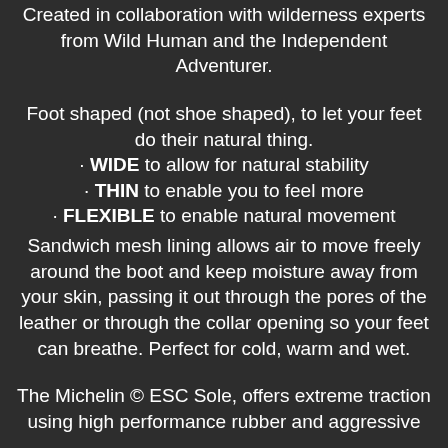Created in collaboration with wilderness experts from Wild Human and the Independent Adventurer.
Foot shaped (not shoe shaped), to let your feet do their natural thing.
· WIDE to allow for natural stability
· THIN to enable you to feel more
· FLEXIBLE to enable natural movement
Sandwich mesh lining allows air to move freely around the boot and keep moisture away from your skin, passing it out through the pores of the leather or through the collar opening so your feet can breathe. Perfect for cold, warm and wet.
The Michelin © ESC Sole, offers extreme traction using high performance rubber and aggressive